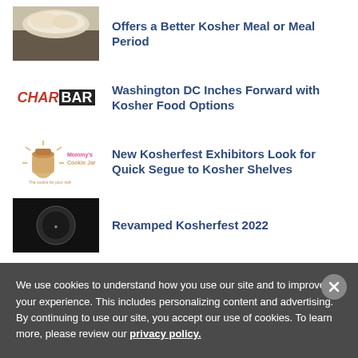[Figure (photo): Food photo showing dough or baked goods on a dark table]
Offers a Better Kosher Meal or Meal Period
[Figure (logo): CharBar logo - CHAR in red italic, BAR in white on black background]
Washington DC Inches Forward with Kosher Food Options
[Figure (logo): Mommy's Cookie Jar logo with cookie jar illustration and tagline 'The cookie for your milk']
New Kosherfest Exhibitors Look for Quick Segue to Kosher Shelves
[Figure (photo): Dark background image with circular logo/badge]
Revamped Kosherfest 2022
We use cookies to understand how you use our site and to improve your experience. This includes personalizing content and advertising. By continuing to use our site, you accept our use of cookies. To learn more, please review our privacy policy.